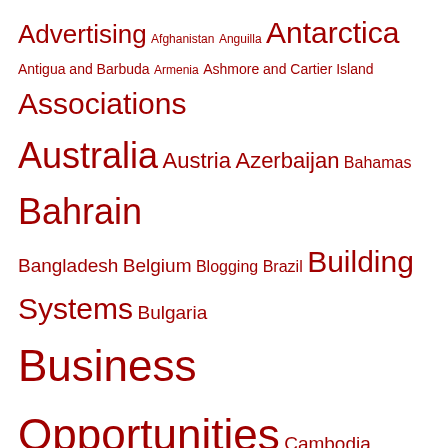[Figure (infographic): Tag cloud with words in varying font sizes, all in dark red color, on white background. Words include country names, industry categories, and topics such as Advertising, Afghanistan, Anguilla, Antarctica, Antigua and Barbuda, Armenia, Ashmore and Cartier Island, Associations, Australia, Austria, Azerbaijan, Bahamas, Bahrain, Bangladesh, Belgium, Blogging, Brazil, Building Systems, Bulgaria, Business Opportunities, Cambodia, Cameroon, Canada, Caterers, China, Computer Consultancy, Costa Rica, Croatia, Czeck Republic, Denmark, Education, Entertainment, Fiji, Finland, Food, France, Georgia, Germany, Health, Hong Kong, Hotels, India, Indonesia, Internet, Iran, Ireland, Ireland Northern, Israel, Italy, Japan, Jersey, Jordan, Kenya, Kuwait, Latvia, Lebanon, Madagascar, Malaysia, Malta, Mexico, Nepal, Netherlands, New Zealand, Nigeria, Norway, Oman, Pakistan, Panama, Peru, Philippines, Poland, Power, Products, Publications, Puerto Rico, Qatar, Romania, Russia, Saudi Arabia, Singapore, South]